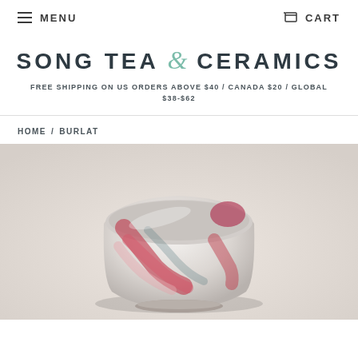MENU  CART
SONG TEA & CERAMICS
FREE SHIPPING ON US ORDERS ABOVE $40 / CANADA $20 / GLOBAL $38-$62
HOME / BURLAT
[Figure (photo): A ceramic tea bowl with a rounded square shape, featuring a white and grey glaze with vivid red/crimson brushstroke patterns across the surface, photographed against a beige background.]